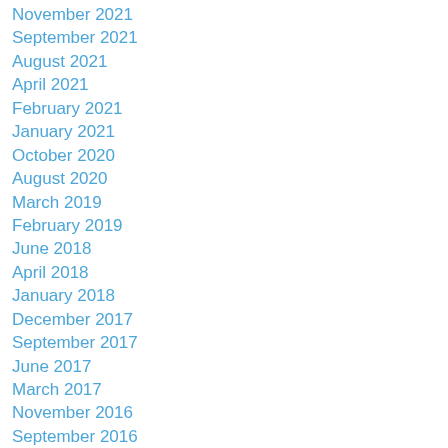November 2021
September 2021
August 2021
April 2021
February 2021
January 2021
October 2020
August 2020
March 2019
February 2019
June 2018
April 2018
January 2018
December 2017
September 2017
June 2017
March 2017
November 2016
September 2016
August 2016